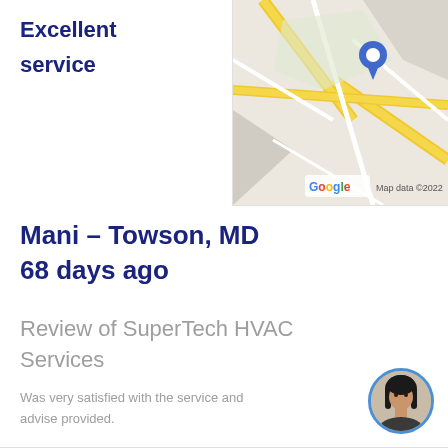Excellent service
[Figure (map): Google Maps screenshot showing road/highway intersection with a blue location pin marker. Shows 'Google' watermark and 'Map data ©2022' text.]
Mani – Towson, MD
68 days ago
Review of SuperTech HVAC Services
Was very satisfied with the service and advise provided.
[Figure (photo): Circular avatar photo of a person with dark hair against a light background, bordered with blue circle.]